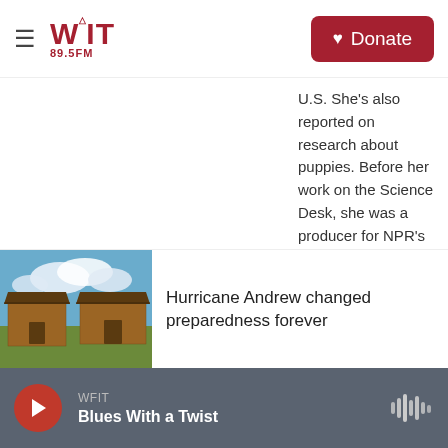WFIT 89.5FM | Donate
U.S. She's also reported on research about puppies. Before her work on the Science Desk, she was a producer for NPR's Weekend All Things Considered in Los Angeles.
See stories by Rebecca Hersher
[Figure (photo): Photo of two brown wooden buildings with a blue sky and clouds in the background, likely depicting hurricane-related housing or preparedness structures.]
Hurricane Andrew changed preparedness forever
WFIT | Blues With a Twist